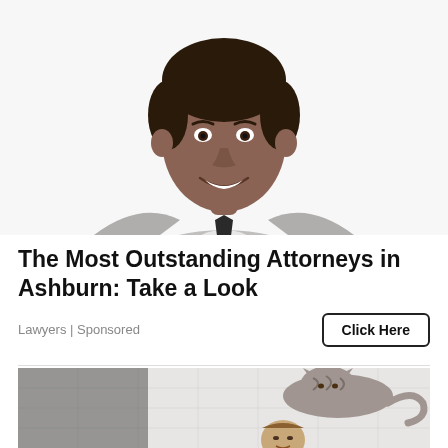[Figure (photo): Professional-looking man in a grey suit and dark tie smiling against a white background, upper body portrait shot.]
The Most Outstanding Attorneys in Ashburn: Take a Look
Lawyers | Sponsored
[Figure (photo): A grey tabby cat sitting on top of a man's head/shoulders in a bathroom setting with white tile walls. The man is looking in a mirror.]